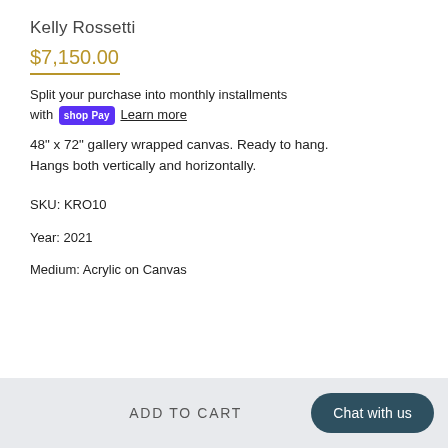Kelly Rossetti
$7,150.00
Split your purchase into monthly installments with shop Pay  Learn more
48" x 72" gallery wrapped canvas. Ready to hang. Hangs both vertically and horizontally.
SKU: KRO10
Year: 2021
Medium: Acrylic on Canvas
ADD TO CART  Chat with us